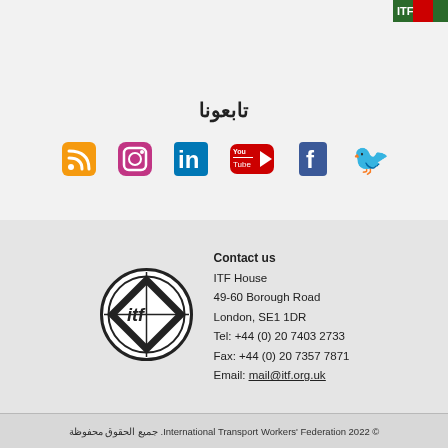[Figure (photo): Partial image of a magazine or banner in top right corner]
تابعونا
[Figure (infographic): Social media icons: RSS (orange), Instagram (purple), LinkedIn (blue), YouTube (red/white), Facebook (navy blue), Twitter (light blue)]
Contact us
ITF House
49-60 Borough Road
London, SE1 1DR
Tel: +44 (0) 20 7403 2733
Fax: +44 (0) 20 7357 7871
Email: mail@itf.org.uk
[Figure (logo): ITF (International Transport Workers' Federation) circular logo in black and white]
© International Transport Workers' Federation 2022. جميع الحقوق محفوظة